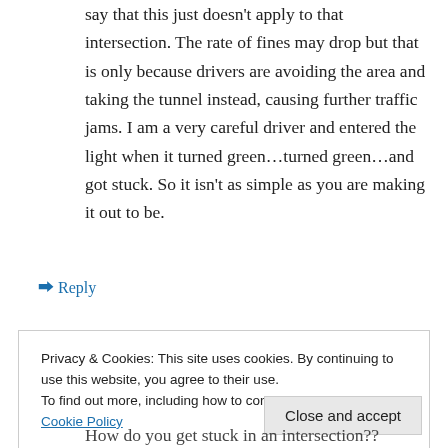say that this just doesn't apply to that intersection. The rate of fines may drop but that is only because drivers are avoiding the area and taking the tunnel instead, causing further traffic jams. I am a very careful driver and entered the light when it turned green…turned green…and got stuck. So it isn't as simple as you are making it out to be.
↳ Reply
Privacy & Cookies: This site uses cookies. By continuing to use this website, you agree to their use. To find out more, including how to control cookies, see here: Cookie Policy
Close and accept
How do you get stuck in an intersection??